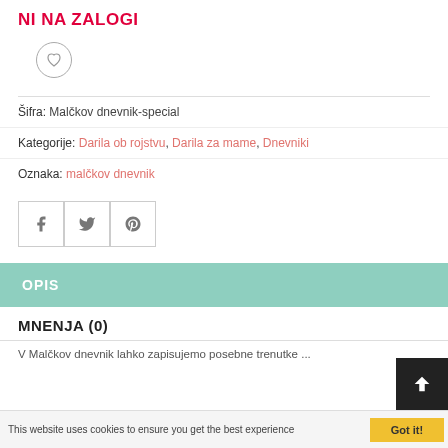NI NA ZALOGI
[Figure (illustration): Wishlist heart icon in a circle]
Šifra: Malčkov dnevnik-special
Kategorije: Darila ob rojstvu, Darila za mame, Dnevniki
Oznaka: malčkov dnevnik
[Figure (illustration): Social share buttons: Facebook, Twitter, Pinterest]
OPIS
MNENJA (0)
V Malčkov dnevnik lahko zapisujemo posebne trenutke ...
This website uses cookies to ensure you get the best experience